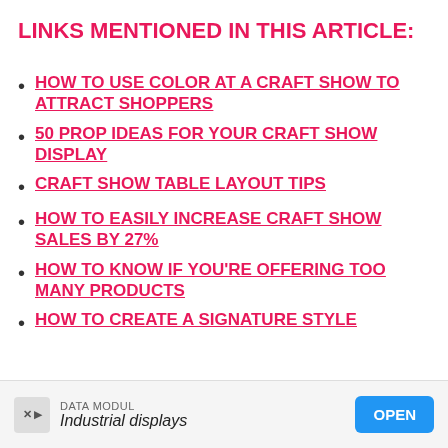LINKS MENTIONED IN THIS ARTICLE:
HOW TO USE COLOR AT A CRAFT SHOW TO ATTRACT SHOPPERS
50 PROP IDEAS FOR YOUR CRAFT SHOW DISPLAY
CRAFT SHOW TABLE LAYOUT TIPS
HOW TO EASILY INCREASE CRAFT SHOW SALES BY 27%
HOW TO KNOW IF YOU'RE OFFERING TOO MANY PRODUCTS
HOW TO CREATE A SIGNATURE STYLE
[Figure (other): Advertisement banner: DATA MODUL - Industrial displays with OPEN button]